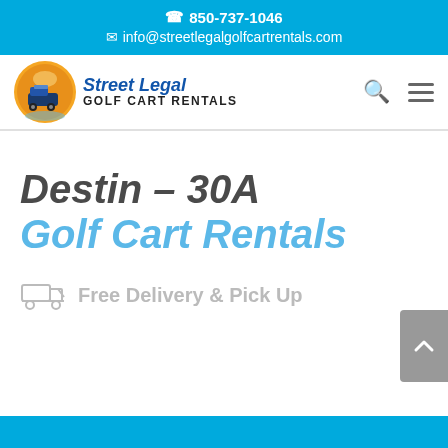📞 850-737-1046
✉ info@streetlegalgolfcartrentals.com
[Figure (logo): Street Legal Golf Cart Rentals logo with circular emblem showing a golf cart and text 'Street Legal Golf Cart Rentals']
Destin – 30A
Golf Cart Rentals
Free Delivery & Pick Up